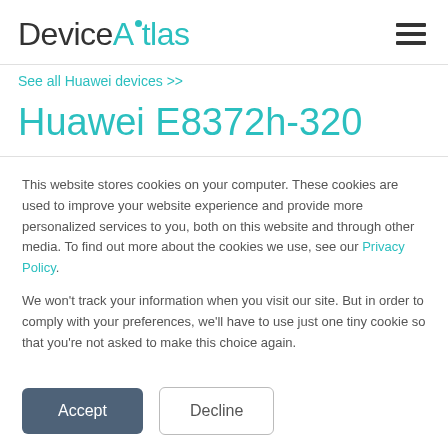DeviceAtlas
See all Huawei devices >>
Huawei E8372h-320
This website stores cookies on your computer. These cookies are used to improve your website experience and provide more personalized services to you, both on this website and through other media. To find out more about the cookies we use, see our Privacy Policy.
We won't track your information when you visit our site. But in order to comply with your preferences, we'll have to use just one tiny cookie so that you're not asked to make this choice again.